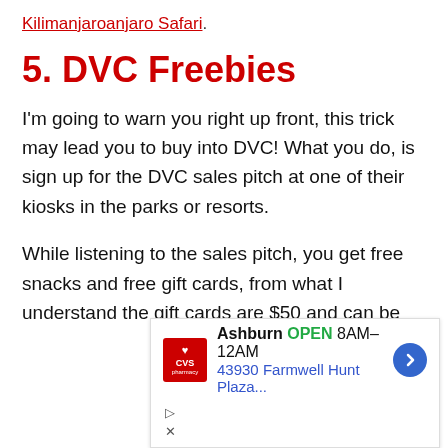Kilimanjaroanjaro Safari.
5. DVC Freebies
I'm going to warn you right up front, this trick may lead you to buy into DVC! What you do, is sign up for the DVC sales pitch at one of their kiosks in the parks or resorts.
While listening to the sales pitch, you get free snacks and free gift cards, from what I understand the gift cards are $50 and can be
[Figure (other): CVS Pharmacy advertisement: Ashburn OPEN 8AM–12AM, 43930 Farmwell Hunt Plaza...]